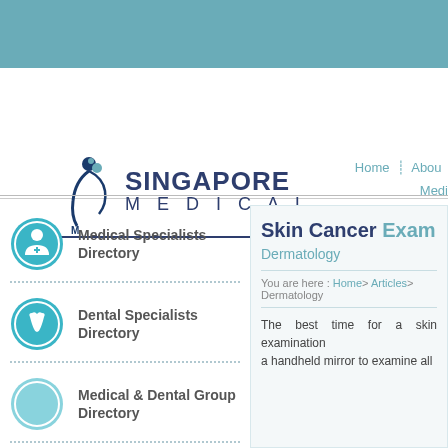[Figure (logo): Singapore Medical logo with teal figure graphic and text SINGAPORE MEDICAL in dark navy]
Home | About | Medi
Medical Specialists Directory
Dental Specialists Directory
Medical & Dental Group Directory
Skin Cancer Exam
Dermatology
You are here : Home > Articles > Dermatology
The best time for a skin examination a handheld mirror to examine all